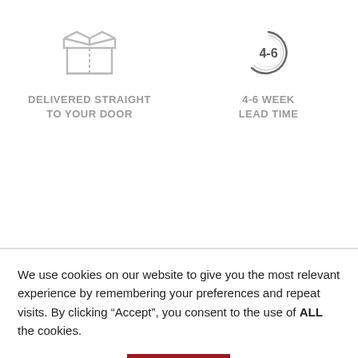[Figure (illustration): Open box icon (delivery)]
DELIVERED STRAIGHT TO YOUR DOOR
[Figure (illustration): 4-6 circular timer/clock icon]
4-6 WEEK LEAD TIME
[Figure (illustration): Delivery truck icon]
WORLD WIDE SHIPPING
We use cookies on our website to give you the most relevant experience by remembering your preferences and repeat visits. By clicking “Accept”, you consent to the use of ALL the cookies.
Cookie settings
ACCEPT